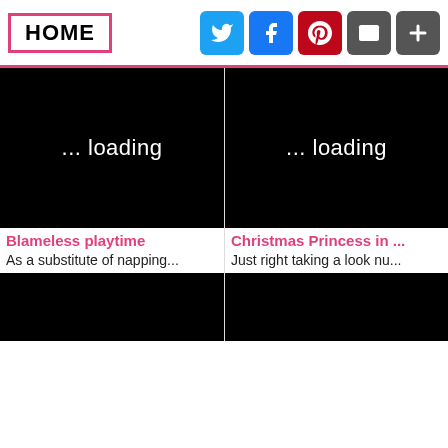HOME
[Figure (screenshot): Social sharing icons: Twitter, Facebook, Pinterest, Email, More]
[Figure (photo): Black loading image with text '... loading']
Blameless playtime
As a substitute of napping...
[Figure (photo): Black loading image with text '... loading']
Christmas Princess in ...
Just right taking a look nu...
[Figure (photo): Black image (loading), bottom left]
[Figure (photo): Black image (loading), bottom right]